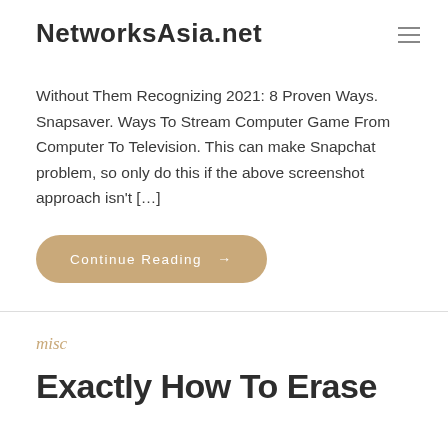NetworksAsia.net
Without Them Recognizing 2021: 8 Proven Ways. Snapsaver. Ways To Stream Computer Game From Computer To Television. This can make Snapchat problem, so only do this if the above screenshot approach isn't […]
Continue Reading →
misc
Exactly How To Erase